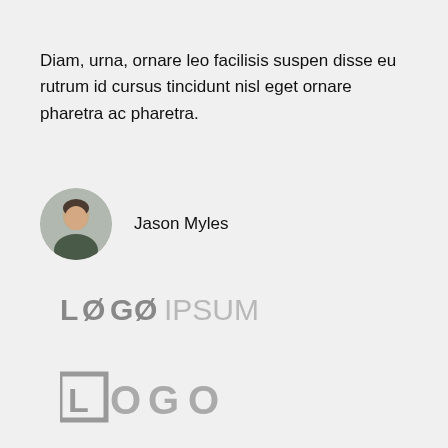Diam, urna, ornare leo facilisis suspen disse eu rutrum id cursus tincidunt nisl eget ornare pharetra ac pharetra.
[Figure (photo): Circular avatar photo of Jason Myles, a man with short hair]
Jason Myles
[Figure (logo): LOGOIPSUM logo in gray tones]
[Figure (logo): LOGO text logo with square bracket L, O, G, O letters in gray]